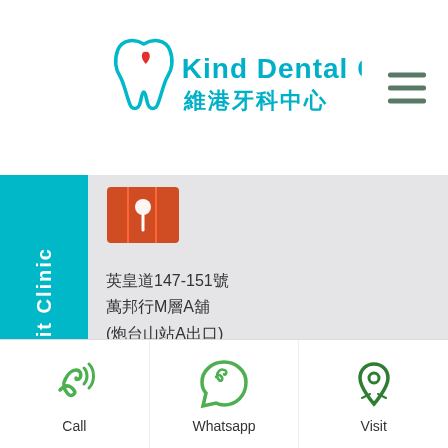[Figure (logo): Kind Dental Care logo with tooth icon and Chinese text 維港牙科中心]
[Figure (logo): Map/location icon in orange/red]
英皇道147-151號
萬邦行M層A舖
(炮台山站A出口)
Shop A, M/F, Multifield Building 147–151 King's Road (Fortress Hill MTR Exit A)
Visit Clinic
[Figure (illustration): Call icon - green telephone with signal waves]
Call
[Figure (illustration): Whatsapp icon - green chat bubble with phone]
Whatsapp
[Figure (illustration): Visit icon - green map pin with location marker]
Visit